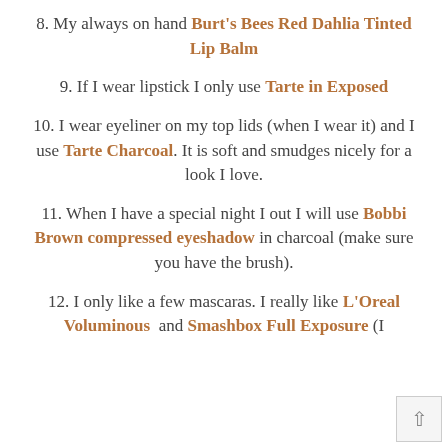8. My always on hand Burt's Bees Red Dahlia Tinted Lip Balm
9. If I wear lipstick I only use Tarte in Exposed
10. I wear eyeliner on my top lids (when I wear it) and I use Tarte Charcoal. It is soft and smudges nicely for a look I love.
11. When I have a special night I out I will use Bobbi Brown compressed eyeshadow in charcoal (make sure you have the brush).
12. I only like a few mascaras. I really like L'Oreal Voluminous and Smashbox Full Exposure (I